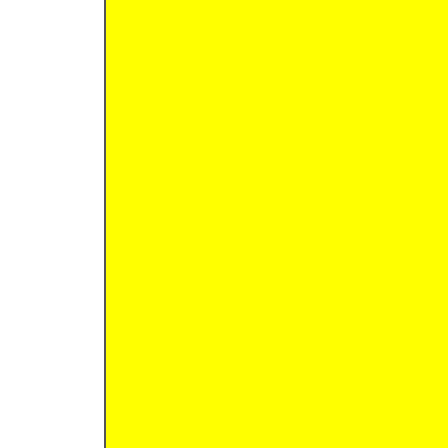4) that seems query doesn't match, right? Other problem - what is the la typed property - (sic!) where into the query feature to und which is in sc be cases whe On the other h this requireme do a query any result set -- th elements in th will be reported (when persis anyway.